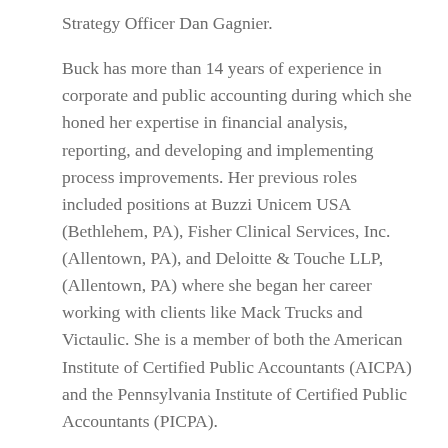Strategy Officer Dan Gagnier.
Buck has more than 14 years of experience in corporate and public accounting during which she honed her expertise in financial analysis, reporting, and developing and implementing process improvements. Her previous roles included positions at Buzzi Unicem USA (Bethlehem, PA), Fisher Clinical Services, Inc. (Allentown, PA), and Deloitte & Touche LLP, (Allentown, PA) where she began her career working with clients like Mack Trucks and Victaulic. She is a member of both the American Institute of Certified Public Accountants (AICPA) and the Pennsylvania Institute of Certified Public Accountants (PICPA).